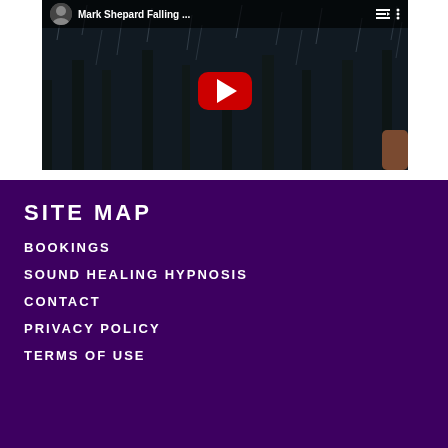[Figure (screenshot): YouTube video thumbnail showing Mark Shepard 'Failing...' with a dark rainy night background, red YouTube play button in center, channel avatar and title bar at top]
SITE MAP
BOOKINGS
SOUND HEALING HYPNOSIS
CONTACT
PRIVACY POLICY
TERMS OF USE